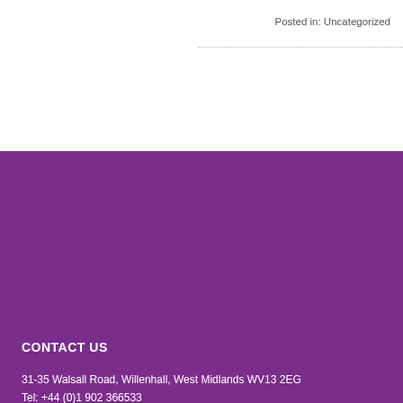Posted in: Uncategorized
CONTACT US
31-35 Walsall Road, Willenhall, West Midlands WV13 2EG
Tel: +44 (0)1902 366533
Fax: +44 (0)1902 366550
Email: sales@ndcworkwear.co.uk
COPYRIGHT 2014 NEW DIRECTION